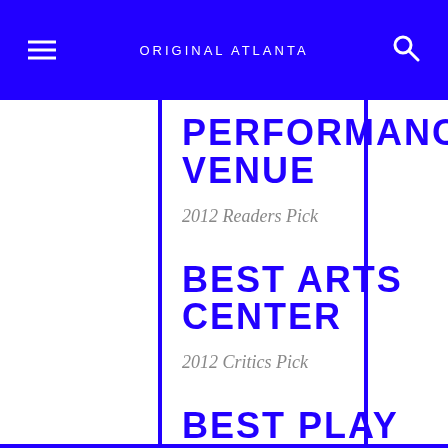ORIGINAL ATLANTA
PERFORMANCE VENUE
2012 Readers Pick
BEST ARTS CENTER
2012 Critics Pick
BEST PLAY
Readers Pick